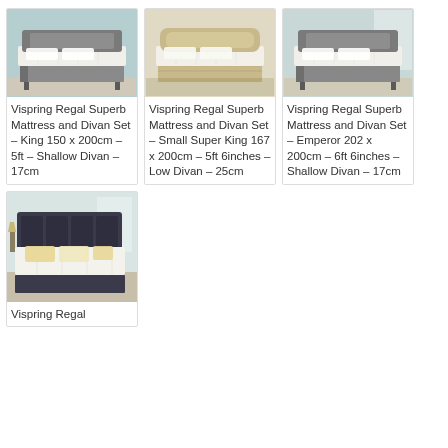[Figure (photo): Vispring Regal Superb Mattress and Divan Set – King size bed with grey divan and white mattress, teal background]
Vispring Regal Superb Mattress and Divan Set – King 150 x 200cm – 5ft – Shallow Divan – 17cm
[Figure (photo): Vispring Regal Superb Mattress and Divan Set – Small Super King size bed with cream/beige divan and white mattress]
Vispring Regal Superb Mattress and Divan Set – Small Super King 167 x 200cm – 5ft 6inches – Low Divan – 25cm
[Figure (photo): Vispring Regal Superb Mattress and Divan Set – Emperor size bed with grey divan and white mattress, light background]
Vispring Regal Superb Mattress and Divan Set – Emperor 202 x 200cm – 6ft 6inches – Shallow Divan – 17cm
[Figure (photo): Vispring Regal bed with dark grey upholstered headboard, white mattress, gold/cream pillows, light background]
Vispring Regal